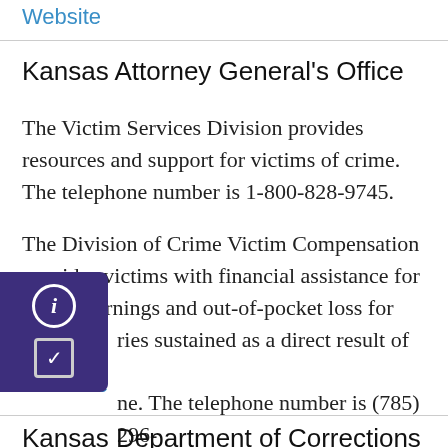Website
Kansas Attorney General's Office
The Victim Services Division provides resources and support for victims of crime. The telephone number is 1-800-828-9745.
The Division of Crime Victim Compensation provides victims with financial assistance for loss of earnings and out-of-pocket loss for injuries sustained as a direct result of violent crime. The telephone number is (785) 296-[number cut off].
Website
Kansas Department of Corrections Office of